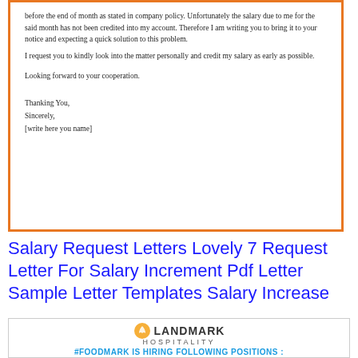before the end of month as stated in company policy. Unfortunately the salary due to me for the said month has not been credited into my account. Therefore I am writing you to bring it to your notice and expecting a quick solution to this problem.
I request you to kindly look into the matter personally and credit my salary as early as possible.

Looking forward to your cooperation.


Thanking You,
Sincerely,
[write here you name]
Salary Request Letters Lovely 7 Request Letter For Salary Increment Pdf Letter Sample Letter Templates Salary Increase
[Figure (infographic): Landmark Hospitality logo with #FOODMARK IS HIRING FOLLOWING POSITIONS: heading and 1. Senior Server. list item]